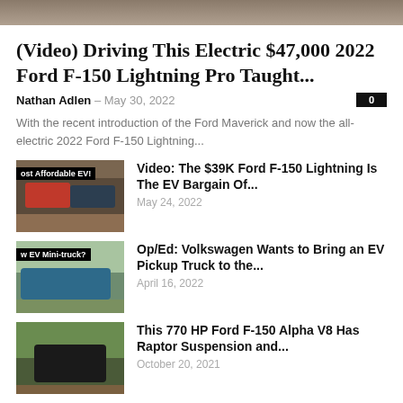[Figure (photo): Top cropped photo of a vehicle or outdoor scene, brown/tan tones]
(Video) Driving This Electric $47,000 2022 Ford F-150 Lightning Pro Taught...
Nathan Adlen – May 30, 2022   0
With the recent introduction of the Ford Maverick and now the all-electric 2022 Ford F-150 Lightning...
[Figure (photo): Thumbnail: Most Affordable EV! – Ford F-150 Lightning trucks on dirt road]
Video: The $39K Ford F-150 Lightning Is The EV Bargain Of... May 24, 2022
[Figure (photo): Thumbnail: New EV Mini-truck? – Blue pickup truck on road]
Op/Ed: Volkswagen Wants to Bring an EV Pickup Truck to the... April 16, 2022
[Figure (photo): Thumbnail: Dark Ford F-150 truck on dirt road]
This 770 HP Ford F-150 Alpha V8 Has Raptor Suspension and... October 20, 2021